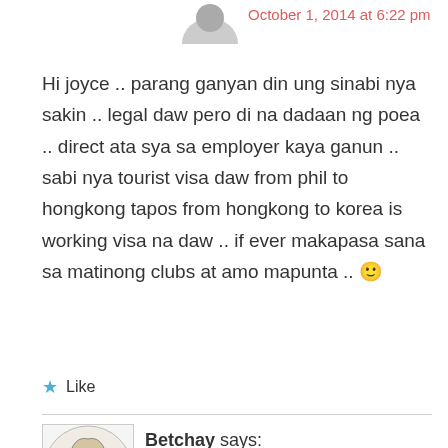October 1, 2014 at 6:22 pm
Hi joyce .. parang ganyan din ung sinabi nya sakin .. legal daw pero di na dadaan ng poea .. direct ata sya sa employer kaya ganun .. sabi nya tourist visa daw from phil to hongkong tapos from hongkong to korea is working visa na daw .. if ever makapasa sana sa matinong clubs at amo mapunta .. 🙂
Like
Betchay says:
October 2, 2014 at 9:17 am